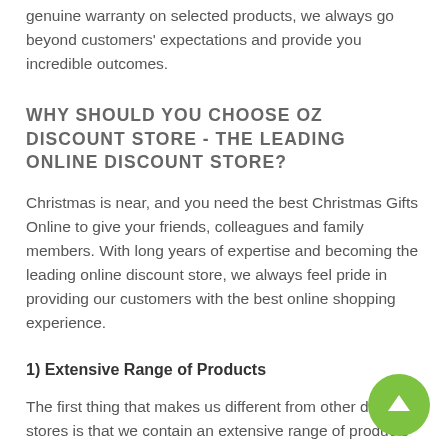genuine warranty on selected products, we always go beyond customers' expectations and provide you incredible outcomes.
WHY SHOULD YOU CHOOSE OZ DISCOUNT STORE - THE LEADING ONLINE DISCOUNT STORE?
Christmas is near, and you need the best Christmas Gifts Online to give your friends, colleagues and family members. With long years of expertise and becoming the leading online discount store, we always feel pride in providing our customers with the best online shopping experience.
1) Extensive Range of Products
The first thing that makes us different from other discount stores is that we contain an extensive range of products in various categories such as electronics, healthcare, toys, automobiles, sports, and more. Our